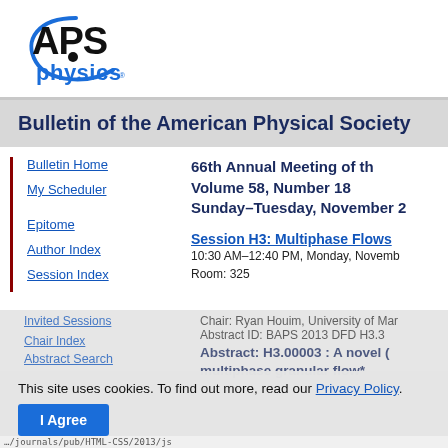[Figure (logo): APS Physics logo with stylized arc and dot above 'physics' in blue]
Bulletin of the American Physical Society
Bulletin Home
My Scheduler
Epitome
Author Index
Session Index
66th Annual Meeting of th[e Division of Fluid Dynamics] Volume 58, Number 18 Sunday–Tuesday, November 2[4–26, 2013]
Session H3: Multiphase Flows[...]
10:30 AM–12:40 PM, Monday, Novemb[er 25, 2013]
Room: 325
Chair: Ryan Houim, University of Mar[yland]
Abstract ID: BAPS 2013 DFD H3.3
Abstract: H3.00003 : A novel [model for] multiphase granular flow*
This site uses cookies. To find out more, read our Privacy Policy.
I Agree